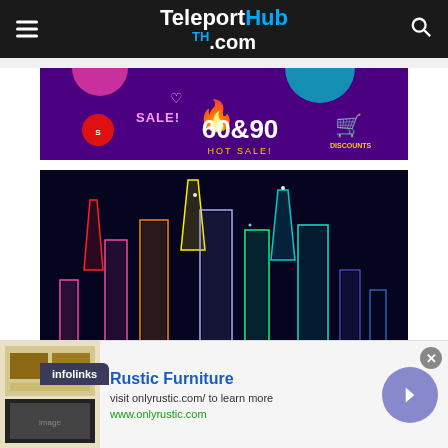TeleportHub .com
[Figure (illustration): Purple 60&90 HOT SALE! promotional banner with neon flame, shopping cart, heart icons and sale badge]
[Figure (illustration): Dark blue background with colorful neon-lit city skyline illustration featuring tall glowing buildings in pink, red, orange, yellow, green, teal colors]
infolinks
Rustic Furniture
visit onlyrustic.com/ to learn more
www.onlyrustic.com